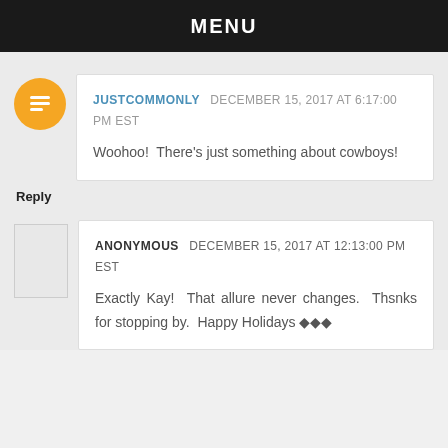MENU
JUSTCOMMONLY  DECEMBER 15, 2017 AT 6:17:00 PM EST
Woohoo! There's just something about cowboys!
Reply
ANONYMOUS  DECEMBER 15, 2017 AT 12:13:00 PM EST
Exactly Kay! That allure never changes. Thsnks for stopping by. Happy Holidays ◆◆◆